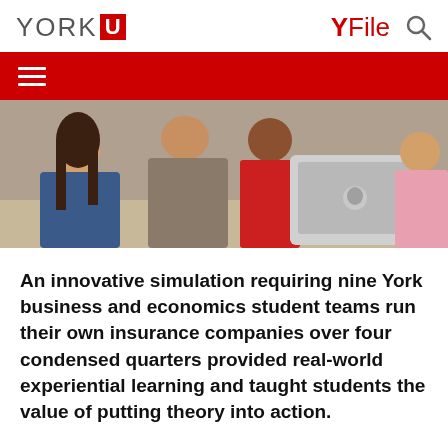YORK U  YFile
[Figure (photo): Students gathered around a laptop computer, working together in a classroom or study setting]
An innovative simulation requiring nine York business and economics student teams run their own insurance companies over four condensed quarters provided real-world experiential learning and taught students the value of putting theory into action.